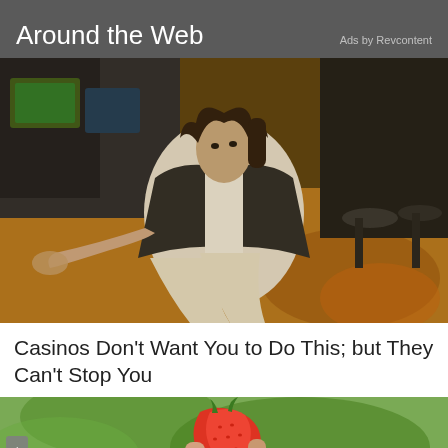Around the Web | Ads by Revcontent
[Figure (photo): Woman in black blazer and white shirt sitting on casino floor surrounded by slot machines and colorful carpet]
Casinos Don't Want You to Do This; but They Can't Stop You
[Figure (photo): Close-up of a strawberry being held by fingers against green leafy background]